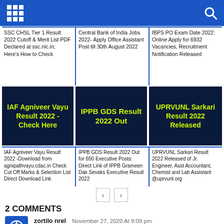Navigation bar with grid icon and search icon
SSC CHSL Tier 1 Result 2022 Cutoff & Merit List PDF Declared at ssc.nic.in; Here’s How to Check
Central Bank of India Jobs 2022- Apply Office Assistant Post till 30th August 2022
IBPS PO Exam Date 2022: Online Apply for 6932 Vacancies, Recruitment Notification Released
[Figure (illustration): Dark navy card with yellow-green text: IAF Agniveer Vayu Result 2022 - Check Here]
[Figure (illustration): Dark navy card with yellow-green text: IPPB GDS Result 2022 Out]
[Figure (illustration): Dark navy card with yellow-green text: UPRVUNL Sarkari Result 2022 Released]
IAF Agniveer Vayu Result 2022 -Download from agnipathvayu.cdac.in Check Cut Off Marks & Selection List Direct Download Link
IPPB GDS Result 2022 Out for 650 Executive Posts: Direct Link of IPPB Grameen Dak Sevaks Executive Result 2022
UPRVUNL Sarkari Result 2022 Released of Jr. Engineer, Asst Accountant, Chemist and Lab Assistant @uprvunl.org
2 COMMENTS
zortilo nrel
November 27, 2020 At 9:09 pm
Thanks on your marvelous posting! I seriously enjoyed